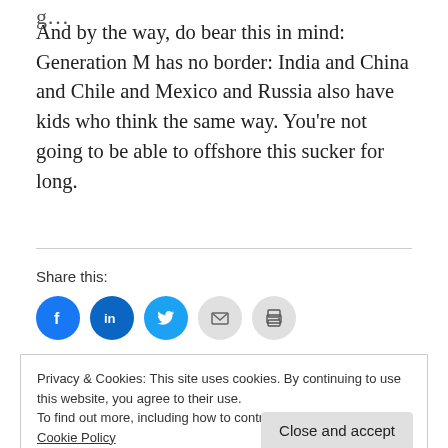g…
And by the way, do bear this in mind: Generation M has no border: India and China and Chile and Mexico and Russia also have kids who think the same way. You're not going to be able to offshore this sucker for long.
Share this:
[Figure (infographic): Social share buttons: Facebook, LinkedIn, Twitter, Email, Print]
Privacy & Cookies: This site uses cookies. By continuing to use this website, you agree to their use.
To find out more, including how to control cookies, see here: Cookie Policy
Close and accept